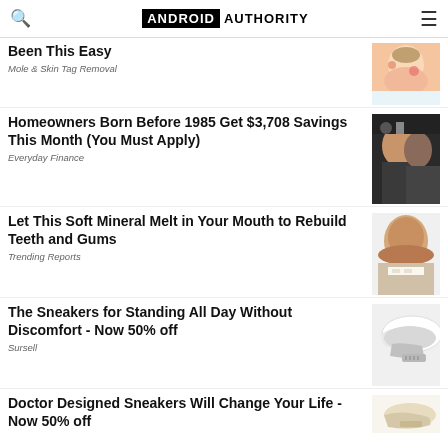ANDROID AUTHORITY
Been This Easy
Mole & Skin Tag Removal
Homeowners Born Before 1985 Get $3,708 Savings This Month (You Must Apply)
Everyday Finance
Let This Soft Mineral Melt in Your Mouth to Rebuild Teeth and Gums
Trending Reports
The Sneakers for Standing All Day Without Discomfort - Now 50% off
Sursell
Doctor Designed Sneakers Will Change Your Life - Now 50% off